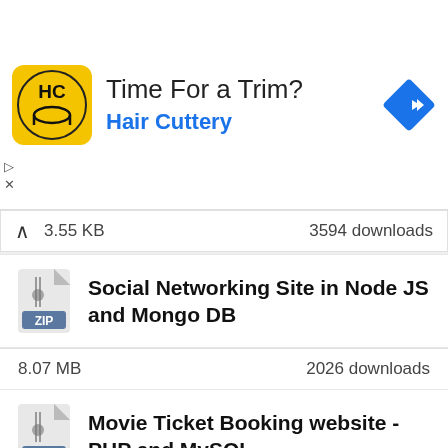[Figure (infographic): Advertisement banner for Hair Cuttery with yellow logo, text 'Time For a Trim?' and 'Hair Cuttery', and a blue diamond navigation arrow icon.]
3.55 KB   3594 downloads
Social Networking Site in Node JS and Mongo DB
8.07 MB   2026 downloads
Movie Ticket Booking website - PHP and MySQL
29.70 MB   1592 downloads
Private user to user chat in